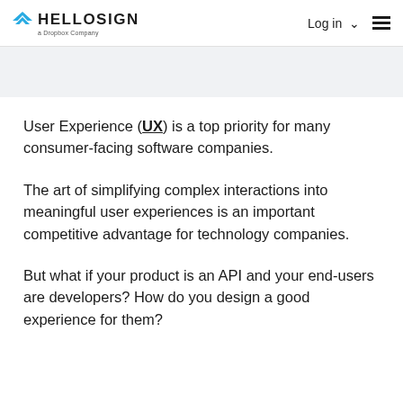HELLOSIGN a Dropbox Company | Log in ☰
User Experience (UX) is a top priority for many consumer-facing software companies.
The art of simplifying complex interactions into meaningful user experiences is an important competitive advantage for technology companies.
But what if your product is an API and your end-users are developers? How do you design a good experience for them?